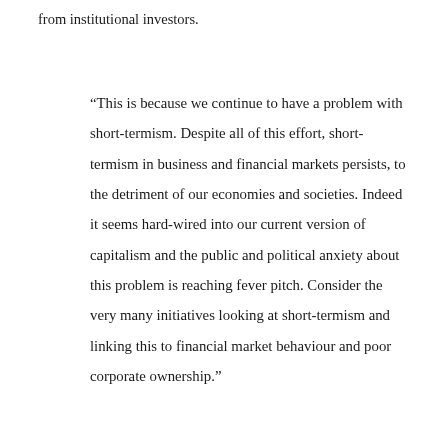from institutional investors.
“This is because we continue to have a problem with short-termism. Despite all of this effort, short-termism in business and financial markets persists, to the detriment of our economies and societies. Indeed it seems hard-wired into our current version of capitalism and the public and political anxiety about this problem is reaching fever pitch. Consider the very many initiatives looking at short-termism and linking this to financial market behaviour and poor corporate ownership.”